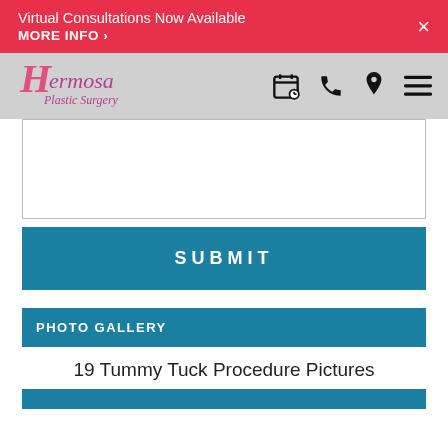Virtual Consultations Now Available MORE INFO ›
[Figure (logo): Hermosa Plastic Surgery logo in pink/purple script]
[Figure (screenshot): Navigation icons: calendar, phone, location pin, hamburger menu]
[Figure (screenshot): White form/text area input field (empty)]
SUBMIT
PHOTO GALLERY
19 Tummy Tuck Procedure Pictures